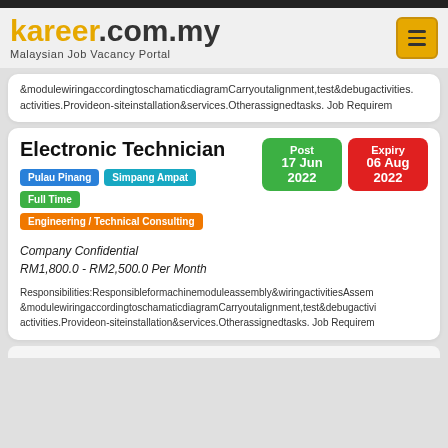kareer.com.my — Malaysian Job Vacancy Portal
&modulewiringaccordingtoschamaticdiagramCarryoutalignment,test&debugactivities.Provideon-siteinstallation&services.Otherassignedtasks. Job Requirements
Electronic Technician
Pulau Pinang  Simpang Ampat  Full Time  Engineering / Technical Consulting
Post 17 Jun 2022  Expiry 06 Aug 2022
Company Confidential
RM1,800.0 - RM2,500.0 Per Month
Responsibilities:Responsibleformachinemoduleassembly&wiringactivitiesAssem&modulewiringaccordingtoschamaticdiagramCarryoutalignment,test&debugactivities.Provideon-siteinstallation&services.Otherassignedtasks. Job Requirements